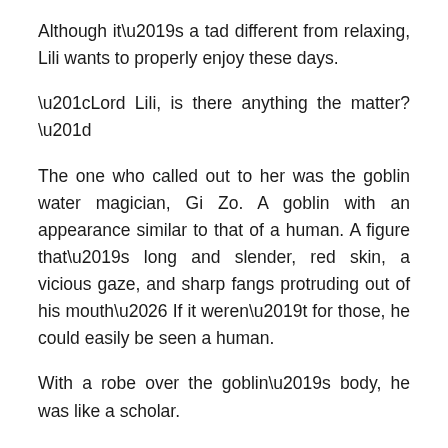Although it’s a tad different from relaxing, Lili wants to properly enjoy these days.
“Lord Lili, is there anything the matter?”
The one who called out to her was the goblin water magician, Gi Zo. A goblin with an appearance similar to that of a human. A figure that’s long and slender, red skin, a vicious gaze, and sharp fangs protruding out of his mouth… If it weren’t for those, he could easily be seen a human.
With a robe over the goblin’s body, he was like a scholar.
As Lili thought those things, she answered the goblin.
“It’s nothing, I’m just patrolling. We’ve also increased in number, so it would be troubling if any problems were to